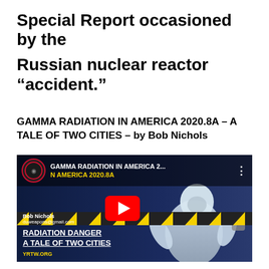Special Report occasioned by the Russian nuclear reactor “accident.”
GAMMA RADIATION IN AMERICA 2020.8A – A TALE OF TWO CITIES – by Bob Nichols
[Figure (screenshot): YouTube video thumbnail showing an animated 3D character in a white hazmat suit holding yellow and black hazard tape, set against a dark background. The video title reads 'GAMMA RADIATION IN AMERICA 2...' and 'N AMERICA 2020.8A'. A red YouTube play button is centered. Bottom left shows 'Bob Nichols / duweapons@gmail.com', 'RADIATION DANGER / A TALE OF TWO CITIES', and 'YRTW.ORG' in yellow.]